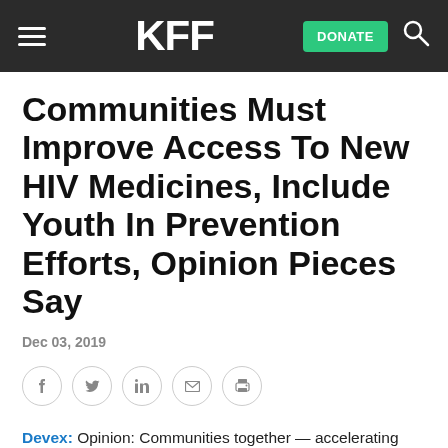KFF | DONATE
Communities Must Improve Access To New HIV Medicines, Include Youth In Prevention Efforts, Opinion Pieces Say
Dec 03, 2019
[Figure (other): Social sharing icons row: Facebook, Twitter, LinkedIn, Email, Print]
Devex: Opinion: Communities together — accelerating uptake of promising new HIV/AIDS medicines
Nagesh Borse, acting director for the HIV/AIDS